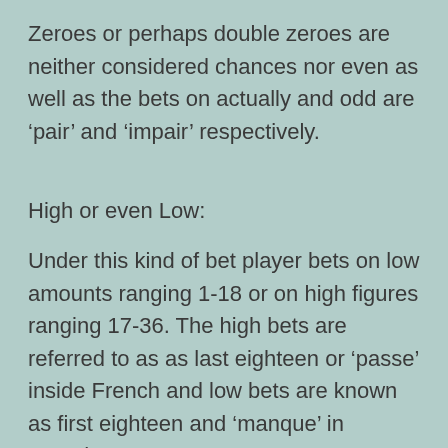Zeroes or perhaps double zeroes are neither considered chances nor even as well as the bets on actually and odd are ‘pair’ and ‘impair’ respectively.
High or even Low:
Under this kind of bet player bets on low amounts ranging 1-18 or on high figures ranging 17-36. The high bets are referred to as as last eighteen or ‘passe’ inside French and low bets are known as first eighteen and ‘manque’ in French.